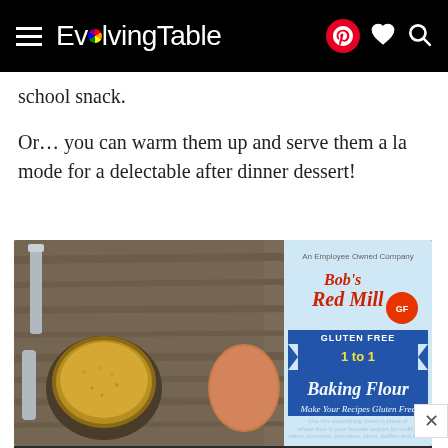EvolvingTable
school snack.
Or… you can warm them up and serve them a la mode for a delectable after dinner dessert!
[Figure (photo): Flat lay photo showing measuring cup with brown sugar, two eggs, and a bag of Bob's Red Mill Gluten Free 1 to 1 Baking Flour on a wooden surface. A Hershey's package is partially visible at the bottom.]